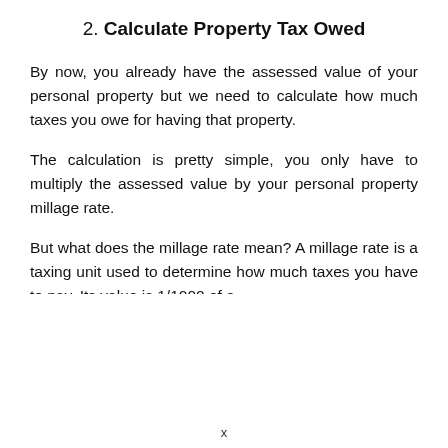2. Calculate Property Tax Owed
By now, you already have the assessed value of your personal property but we need to calculate how much taxes you owe for having that property.
The calculation is pretty simple, you only have to multiply the assessed value by your personal property millage rate.
But what does the millage rate mean? A millage rate is a taxing unit used to determine how much taxes you have to pay. Its value is 1/1000 of a
x